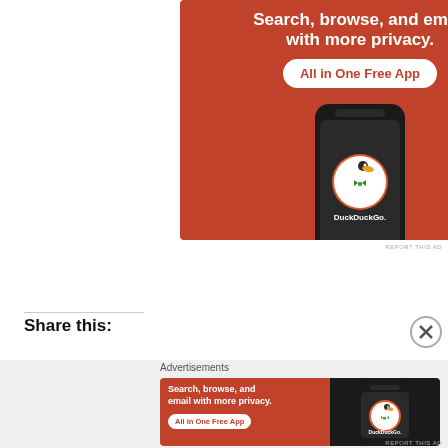[Figure (screenshot): DuckDuckGo advertisement banner showing a phone with DuckDuckGo logo on an orange/red background. Text reads 'Search, browse, and email with more privacy. All in One Free App'. Shows DuckDuckGo app icon.]
REPORT THIS AD
Share this:
Advertisements
[Figure (screenshot): Second DuckDuckGo advertisement. Orange background with text 'Search, browse, and email with more privacy. All in One Free App' on left, and phone with DuckDuckGo logo on right.]
REPORT THIS AD